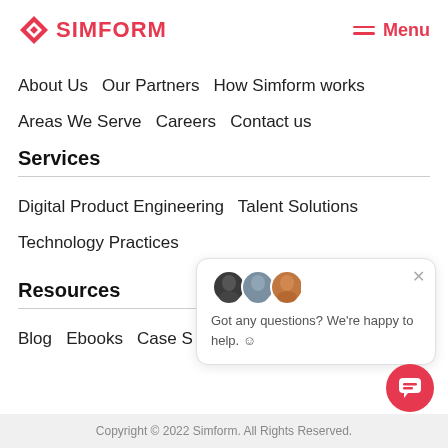SIMFORM   Menu
About Us  Our Partners  How Simform works
Areas We Serve  Careers  Contact us
Services
Digital Product Engineering  Talent Solutions
Technology Practices
Resources
Blog  Ebooks  Case S...
[Figure (infographic): Chat popup with three avatars and text: Got any questions? We're happy to help. with smiley face. X close button in top right.]
[Figure (infographic): Red circular chat icon button in bottom right corner.]
Copyright © 2022 Simform. All Rights Reserved.